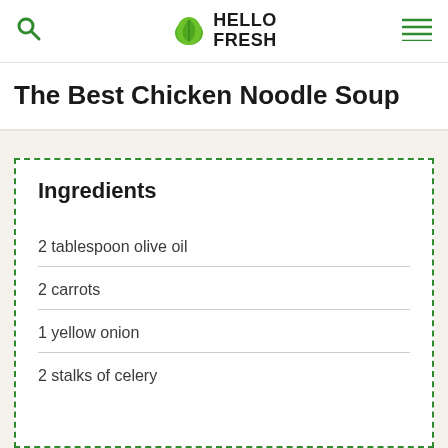HelloFresh
The Best Chicken Noodle Soup
Ingredients
2 tablespoon olive oil
2 carrots
1 yellow onion
2 stalks of celery